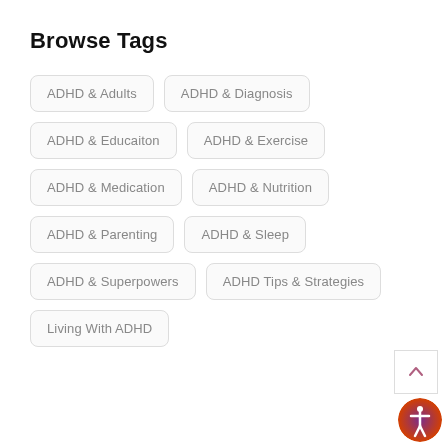Browse Tags
ADHD & Adults
ADHD & Diagnosis
ADHD & Educaiton
ADHD & Exercise
ADHD & Medication
ADHD & Nutrition
ADHD & Parenting
ADHD & Sleep
ADHD & Superpowers
ADHD Tips & Strategies
Living With ADHD